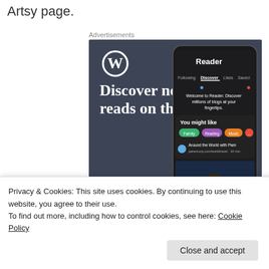Artsy page.
Advertisements
[Figure (screenshot): WordPress advertisement showing 'Discover new reads on the go.' with a phone mockup of the WordPress Reader app. Includes WordPress logo, tagline, and 'GET THE APP' call to action on a dark blue-gray background.]
Privacy & Cookies: This site uses cookies. By continuing to use this website, you agree to their use.
To find out more, including how to control cookies, see here: Cookie Policy